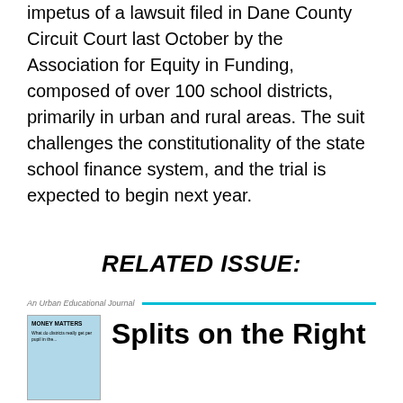impetus of a lawsuit filed in Dane County Circuit Court last October by the Association for Equity in Funding, composed of over 100 school districts, primarily in urban and rural areas. The suit challenges the constitutionality of the state school finance system, and the trial is expected to begin next year.
RELATED ISSUE:
An Urban Educational Journal
[Figure (illustration): Book cover thumbnail with light blue background, titled MONEY MATTERS in bold text]
Splits on the Right